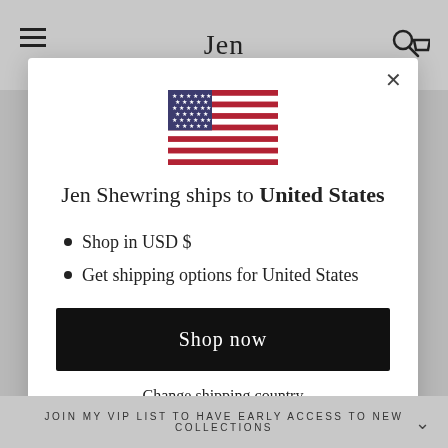Jen
[Figure (illustration): US flag emoji/illustration centered in modal dialog]
Jen Shewring ships to United States
Shop in USD $
Get shipping options for United States
Shop now
Change shipping country
JOIN MY VIP LIST TO HAVE EARLY ACCESS TO NEW COLLECTIONS